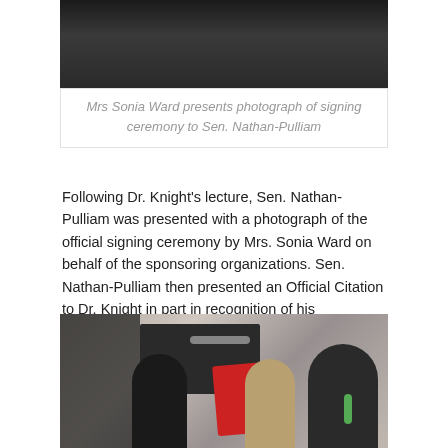[Figure (photo): Top portion of a photograph showing a person in dark clothing against a light background]
Mrs Sonia Ward presents photograph of signing ceremony to Sen. Nathan-Pulliam
Following Dr. Knight's lecture, Sen. Nathan-Pulliam was presented with a photograph of the official signing ceremony by Mrs. Sonia Ward on behalf of the sponsoring organizations. Sen. Nathan-Pulliam then presented an Official Citation to Dr. Knight in part in recognition of his contribution to the inaugural Caribbean lecture series.
[Figure (photo): Photograph showing three people indoors: a woman on the left wearing glasses and black clothing, a man in the middle holding a red folder/certificate, and a man in a dark suit with green tie on the right]